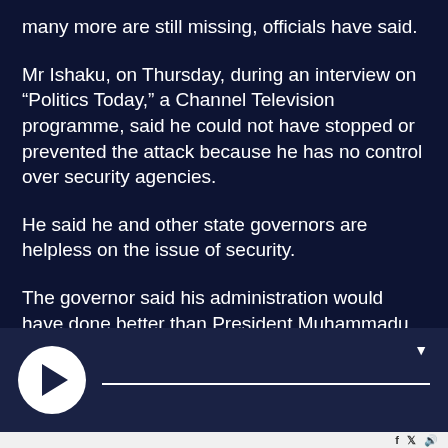many more are still missing, officials have said.
Mr Ishaku, on Thursday, during an interview on “Politics Today,” a Channel Television programme, said he could not have stopped or prevented the attack because he has no control over security agencies.
He said he and other state governors are helpless on the issue of security.
The governor said his administration would have done better than President Muhammadu Buhari-led federal government if he had control over the police
[Figure (other): Audio/video player bar with a white circular play button on the left and a white progress line on the right, on a dark navy background.]